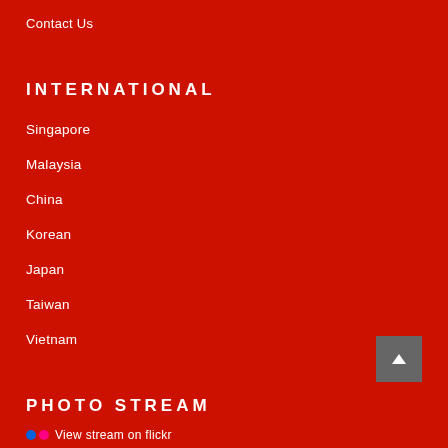Contact Us
INTERNATIONAL
Singapore
Malaysia
China
Korean
Japan
Taiwan
Vietnam
PHOTO STREAM
View stream on flickr